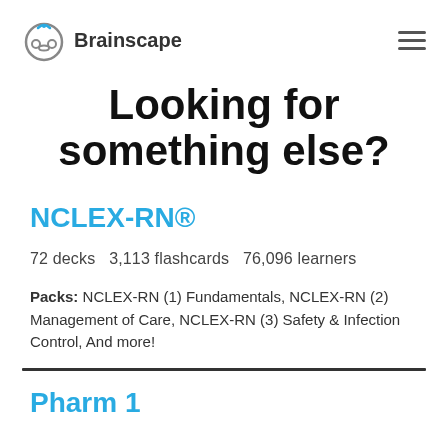Brainscape
Looking for something else?
NCLEX-RN®
72 decks  3,113 flashcards  76,096 learners
Packs: NCLEX-RN (1) Fundamentals, NCLEX-RN (2) Management of Care, NCLEX-RN (3) Safety & Infection Control, And more!
Pharm 1